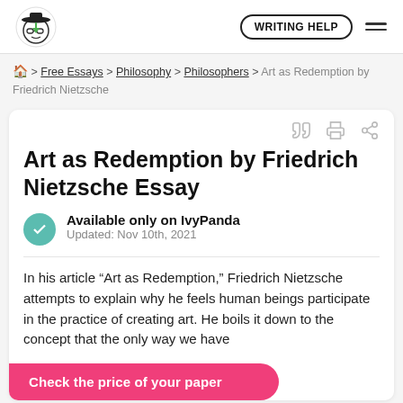WRITING HELP
🏠 > Free Essays > Philosophy > Philosophers > Art as Redemption by Friedrich Nietzsche
Art as Redemption by Friedrich Nietzsche Essay
Available only on IvyPanda
Updated: Nov 10th, 2021
In his article “Art as Redemption,” Friedrich Nietzsche attempts to explain why he feels human beings participate in the practice of creating art. [He boils it down to the concept that] the only way we have
Check the price of your paper